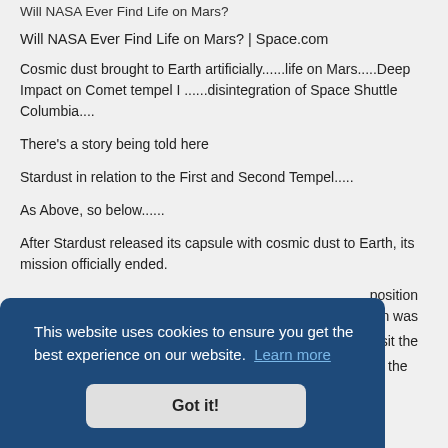Will NASA Ever Find Life on Mars?
Will NASA Ever Find Life on Mars? | Space.com
Cosmic dust brought to Earth artificially......life on Mars.....Deep Impact on Comet tempel I ......disintegration of Space Shuttle Columbia....
There's a story being told here
Stardust in relation to the First and Second Tempel.....
As Above, so below......
After Stardust released its capsule with cosmic dust to Earth, its mission officially ended.
...position ...h was
...revisit the
In July 3, 2007 this extended mission was approved, under the direction of New Frontiers and Formal AIM. To Find ...
[Figure (screenshot): Cookie consent overlay with dark blue background reading 'This website uses cookies to ensure you get the best experience on our website. Learn more' and a 'Got it!' button]